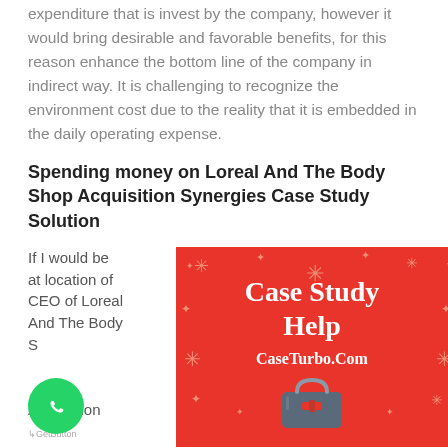expenditure that is invest by the company, however it would bring desirable and favorable benefits, for this reason enhance the bottom line of the company in indirect way. It is challenging to recognize the environment cost due to the reality that it is embedded in the daily operating expense.
Spending money on Loreal And The Body Shop Acquisition Synergies Case Study Solution
If I would be at location of CEO of Loreal And The Body Shop Acquisition Synergies
[Figure (infographic): Red banner advertisement for CaseTurbo.Com showing 'Case Study Help' in white serif text on red background with decorative stars/sparkles and a partial bag illustration at bottom.]